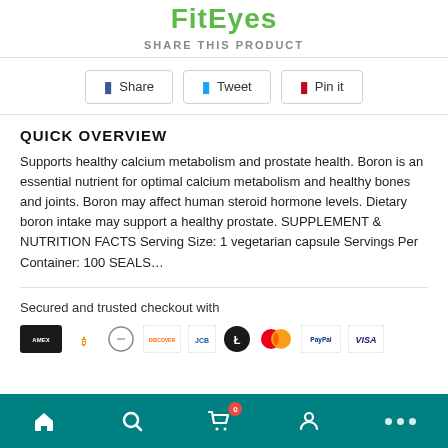FitEyes
SHARE THIS PRODUCT
Share   Tweet   Pin it
QUICK OVERVIEW
Supports healthy calcium metabolism and prostate health. Boron is an essential nutrient for optimal calcium metabolism and healthy bones and joints. Boron may affect human steroid hormone levels. Dietary boron intake may support a healthy prostate. SUPPLEMENT & NUTRITION FACTS Serving Size: 1 vegetarian capsule Servings Per Container: 100 SEALS...
Secured and trusted checkout with
[Figure (other): Payment method icons: American Express, Bitcoin, Diners Club, Discover, JCB, Litecoin, Mastercard, PayPal, Visa]
Home | Search | Cart (0) | Account | More